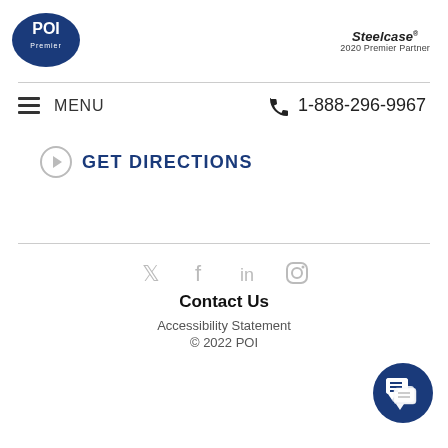[Figure (logo): POI logo - dark blue oval with white text POI]
[Figure (logo): Steelcase 2020 Premier Partner logo]
MENU
1-888-296-9967
GET DIRECTIONS
[Figure (infographic): Social media icons: Twitter, Facebook, LinkedIn, Instagram]
Contact Us
Accessibility Statement
© 2022 POI
[Figure (illustration): Dark blue circular chat/message button icon]